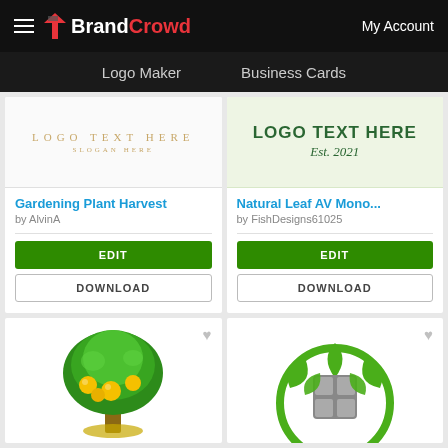BrandCrowd — My Account
Logo Maker   Business Cards
[Figure (screenshot): Logo template preview: light background with 'LOGO TEXT HERE' in gold spaced caps and 'SLOGAN HERE' below in smaller gold text]
Gardening Plant Harvest
by AlvinA
[Figure (screenshot): Logo template preview: light green background with 'LOGO TEXT HERE' in bold dark green caps and 'Est. 2021' in italic dark green below]
Natural Leaf AV Mono...
by FishDesigns61025
[Figure (illustration): Partial view of a green tree with yellow fruit logo illustration at the bottom of the page]
[Figure (illustration): Partial view of a circular green leaf logo with grey grid/window pattern at the bottom of the page]